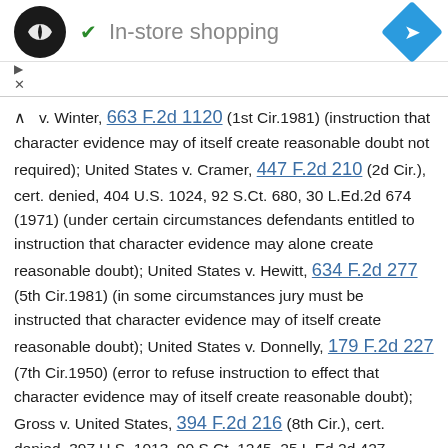[Figure (other): Ad bar with logo, checkmark, 'In-store shopping' text, and navigation diamond icon]
v. Winter, 663 F.2d 1120 (1st Cir.1981) (instruction that character evidence may of itself create reasonable doubt not required); United States v. Cramer, 447 F.2d 210 (2d Cir.), cert. denied, 404 U.S. 1024, 92 S.Ct. 680, 30 L.Ed.2d 674 (1971) (under certain circumstances defendants entitled to instruction that character evidence may alone create reasonable doubt); United States v. Hewitt, 634 F.2d 277 (5th Cir.1981) (in some circumstances jury must be instructed that character evidence may of itself create reasonable doubt); United States v. Donnelly, 179 F.2d 227 (7th Cir.1950) (error to refuse instruction to effect that character evidence may of itself create reasonable doubt); Gross v. United States, 394 F.2d 216 (8th Cir.), cert. denied, 397 U.S. 1013, 90 S.Ct. 1245, 25 L.Ed.2d 427 (1968) (in some circumstances jury must be instructed that character evidence alone may be sufficient to raise reasonable doubt); Smith v. United States, 305 F.2d 197 (9th Cir.), cert. denied, 371 U.S. 890, 83 S.Ct. 190, 9 L.Ed.2d 124 (1962) (absent special circumstances, proper to refuse to instruct that character evidence alone may suffice to create reasonable doubt); United States v. McManus, 356 F.2d 540 (10th Cir.1966) and lower court opinion 839...